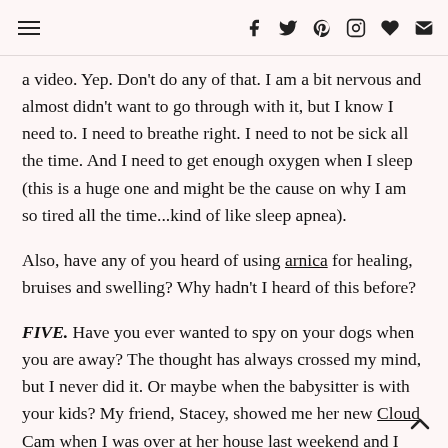menu icon | f | twitter | pinterest | instagram | heart | mail
a video. Yep. Don't do any of that. I am a bit nervous and almost didn't want to go through with it, but I know I need to. I need to breathe right. I need to not be sick all the time. And I need to get enough oxygen when I sleep (this is a huge one and might be the cause on why I am so tired all the time...kind of like sleep apnea).
Also, have any of you heard of using arnica for healing, bruises and swelling? Why hadn't I heard of this before?
FIVE. Have you ever wanted to spy on your dogs when you are away? The thought has always crossed my mind, but I never did it. Or maybe when the babysitter is with your kids? My friend, Stacey, showed me her new Cloud Cam when I was over at her house last weekend and I sooo want one. Especially after our house was burglarized several years ago. I want to see what my dog is up to all